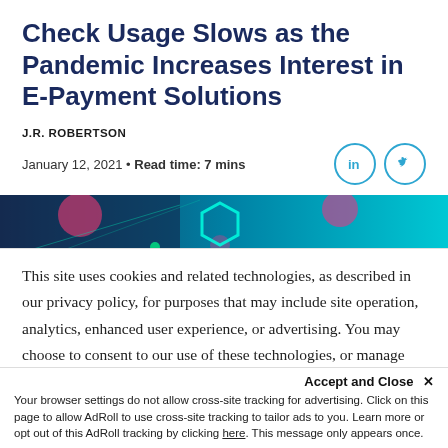Check Usage Slows as the Pandemic Increases Interest in E-Payment Solutions
J.R. ROBERTSON
January 12, 2021 • Read time: 7 mins
[Figure (illustration): Abstract digital/tech banner image with teal and dark blue gradient, glowing neon shapes including circles and geometric forms]
This site uses cookies and related technologies, as described in our privacy policy, for purposes that may include site operation, analytics, enhanced user experience, or advertising. You may choose to consent to our use of these technologies, or manage your own preferences.
Accept and Close ✕
Your browser settings do not allow cross-site tracking for advertising. Click on this page to allow AdRoll to use cross-site tracking to tailor ads to you. Learn more or opt out of this AdRoll tracking by clicking here. This message only appears once.